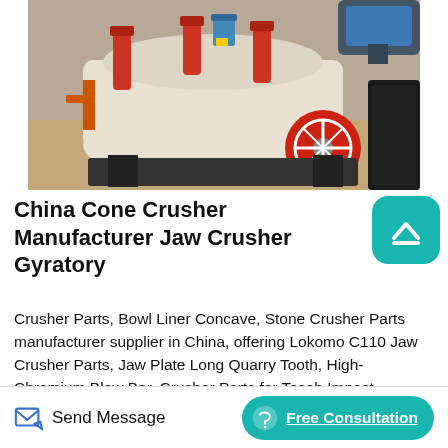[Figure (photo): Photo of a white and orange cone crusher machine sitting on sandy ground outdoors, with red hydraulic cylinders visible on top and a large red wheel on the side. A blue electric motor is visible in the background upper right.]
China Cone Crusher Manufacturer Jaw Crusher Gyratory
Crusher Parts, Bowl Liner Concave, Stone Crusher Parts manufacturer supplier in China, offering Lokomo C110 Jaw Crusher Parts, Jaw Plate Long Quarry Tooth, High-Chromium Blow Bar, Crusher Parts for Tesab Impact Crusher, High Manganese Long Blow Bar for Lippmann 5165lp Impact Crusher.Crusher dryer bearing housing manufacture jawcrusher. Crusher Bearing Cartridge Assembly Manufacturer. Crusher dryer bearing housing manufacture